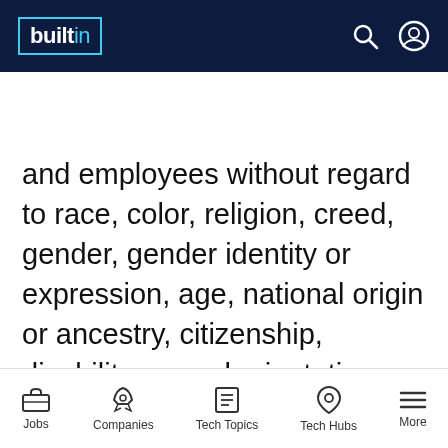builtin [logo with nav icons: search, profile]
APPLY NOW | ☆ SAVE
and employees without regard to race, color, religion, creed, gender, gender identity or expression, age, national origin or ancestry, citizenship, disability, sexual orientation, marital status, pregnancy, veteran status, membership in the uniformed services, genetic information, or any other basis protected by applicable law. NBCUniversal will consider for employment qualified applicants with criminal histories in a manner consistent with relevant legal
Jobs | Companies | Tech Topics | Tech Hubs | More